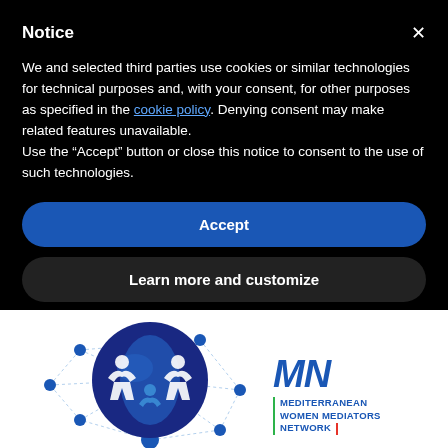Notice
We and selected third parties use cookies or similar technologies for technical purposes and, with your consent, for other purposes as specified in the cookie policy. Denying consent may make related features unavailable.
Use the "Accept" button or close this notice to consent to the use of such technologies.
Accept
Learn more and customize
[Figure (logo): Mediterranean Women Mediators Network logo — globe graphic with human figures and network lines on white background, with MN abbreviation and full name text]